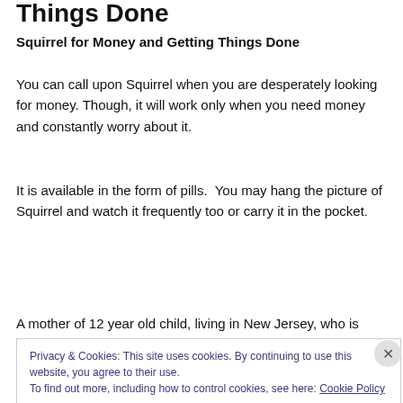Things Done
Squirrel for Money and Getting Things Done
You can call upon Squirrel when you are desperately looking for money. Though, it will work only when you need money and constantly worry about it.
It is available in the form of pills.  You may hang the picture of Squirrel and watch it frequently too or carry it in the pocket.
A mother of 12 year old child, living in New Jersey, who is
Privacy & Cookies: This site uses cookies. By continuing to use this website, you agree to their use.
To find out more, including how to control cookies, see here: Cookie Policy
Close and accept